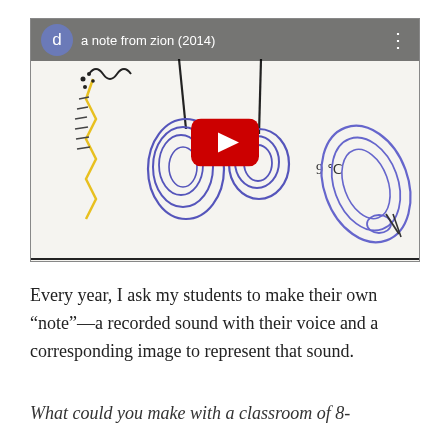[Figure (screenshot): YouTube video thumbnail showing a child's hand-drawn artwork with scribbled shapes in blue pen and yellow marker on white paper. Video title bar at top reads 'a note from zion (2014)' with a 'd' avatar circle in blue-purple. A red YouTube play button is centered on the image.]
Every year, I ask my students to make their own “note”—a recorded sound with their voice and a corresponding image to represent that sound.
What could you make with a classroom of 8-